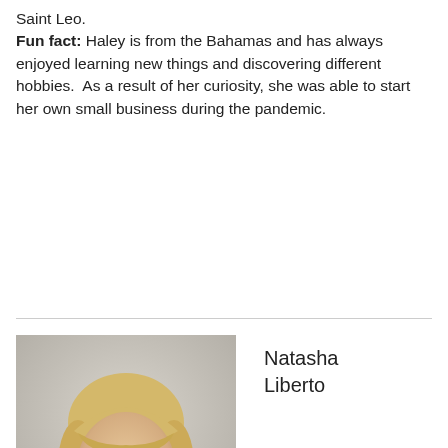Saint Leo.
Fun fact: Haley is from the Bahamas and has always enjoyed learning new things and discovering different hobbies.  As a result of her curiosity, she was able to start her own small business during the pandemic.
[Figure (photo): Headshot photo of Natasha Liberto, a young woman with blonde hair and bangs, light background.]
Natasha Liberto